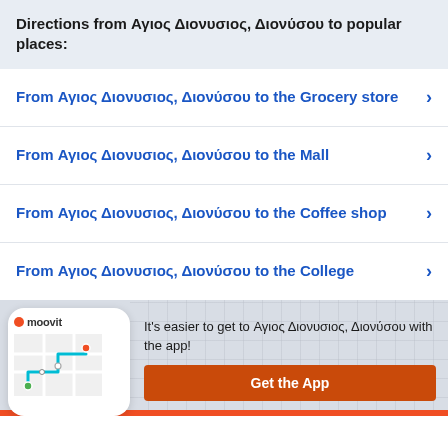Directions from Αγιος Διονυσιος, Διονύσου to popular places:
From Αγιος Διονυσιος, Διονύσου to the Grocery store
From Αγιος Διονυσιος, Διονύσου to the Mall
From Αγιος Διονυσιος, Διονύσου to the Coffee shop
From Αγιος Διονυσιος, Διονύσου to the College
[Figure (infographic): Moovit app promotional banner with phone mockup showing a map with route, Moovit logo, text: It's easier to get to Αγιος Διονυσιος, Διονύσου with the app!, and a Get the App button]